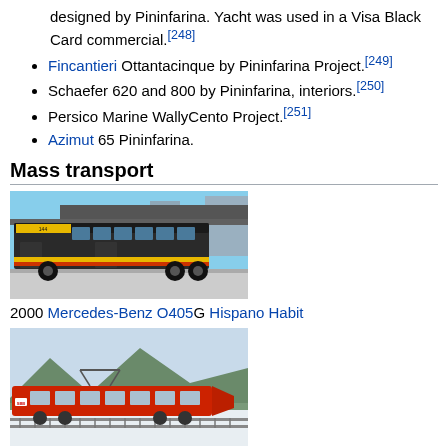designed by Pininfarina. Yacht was used in a Visa Black Card commercial.[248]
Fincantieri Ottantacinque by Pininfarina Project.[249]
Schaefer 620 and 800 by Pininfarina, interiors.[250]
Persico Marine WallyCento Project.[251]
Azimut 65 Pininfarina.
Mass transport
[Figure (photo): Photo of a 2000 Mercedes-Benz O405G Hispano Habit bus at a bus station]
2000 Mercedes-Benz O405G Hispano Habit
[Figure (photo): Photo of a 1991-1997 Re 460 locomotive and IC 2000 train in snowy landscape]
1991–1997 Re 460 locomotive and IC 2000 train